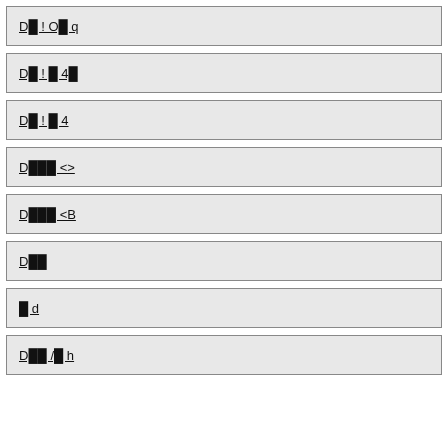D█ ! O█ q
D█ ! █ 4█
D█ ! █ 4
D███ <>
D███ <B
D██
█ d
D██ /█ h